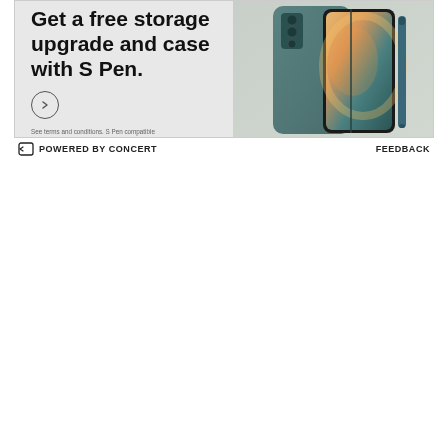[Figure (infographic): Samsung Galaxy Z Fold advertisement banner. Left side shows bold text 'Get a free storage upgrade and case with S Pen.' with a circular arrow button and fine print disclaimer. Right side shows product image of Samsung Galaxy Z Fold phone in teal/grey color with S Pen stylus.]
POWERED BY CONCERT   FEEDBACK